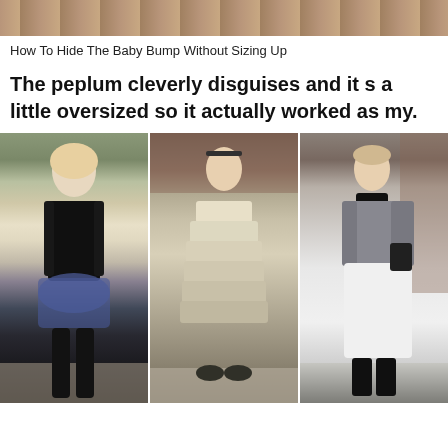[Figure (photo): Partial top image – cropped photo visible at the very top of the page, showing a warm-toned background, likely a floor or outdoor surface]
How To Hide The Baby Bump Without Sizing Up
The peplum cleverly disguises and it s a little oversized so it actually worked as my.
[Figure (photo): Three side-by-side photos of women in maternity-styled outfits: left – woman in black fur vest over floral dress with over-the-knee boots; center – woman in tiered cream/beige polka dot ruffle dress; right – woman in grey blazer over black turtleneck with white midi skirt and black ankle boots, all on city/outdoor backgrounds]